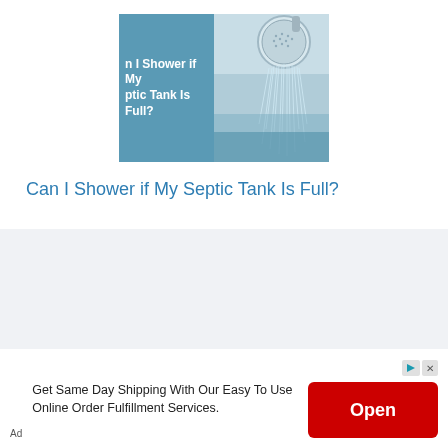[Figure (illustration): Composite image: left side is a blue-tinted panel with white bold text reading 'Can I Shower if My Septic Tank Is Full?', right side is a photo of a rain shower head with water streaming down]
Can I Shower if My Septic Tank Is Full?
[Figure (other): Advertisement banner: text 'Get Same Day Shipping With Our Easy To Use Online Order Fulfillment Services.' with a red Open button and ad controls (play arrow icon and X close icon). 'Ad' label at bottom left.]